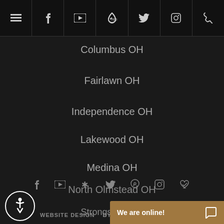Navigation bar with menu, facebook, youtube, yelp, twitter, instagram, phone icons
Columbus OH
Fairlawn OH
Independence OH
Lakewood OH
Medina OH
North Olmstead OH
Strongsville OH
Social icons: facebook, youtube, yelp, twitter, pinterest, instagram, heart
WEBSITE DESIGN   BY BBHS © 2022
We are online!